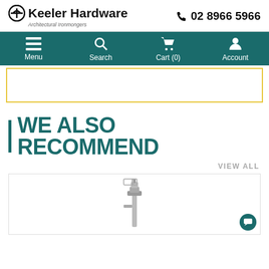Keeler Hardware | Architectural Ironmongers | 02 8966 5966
[Figure (screenshot): Navigation bar with Menu, Search, Cart (0), Account icons on teal background]
[Figure (other): Yellow-bordered empty box (product image area)]
WE ALSO RECOMMEND
VIEW ALL
[Figure (photo): Product image of a metal bolt/latch hardware item on white background]